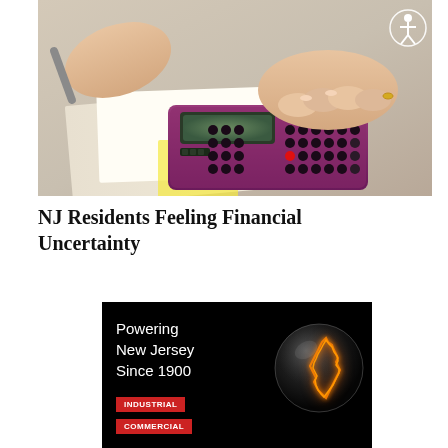[Figure (photo): Close-up photo of hands using a purple calculator on a desk with papers, person appears to be doing financial calculations]
NJ Residents Feeling Financial Uncertainty
[Figure (illustration): Advertisement with black background showing text 'Powering New Jersey Since 1900' with red badges for 'INDUSTRIAL' and 'COMMERCIAL', and a glowing orange outline of New Jersey state map inside a glass globe/orb on the right side]